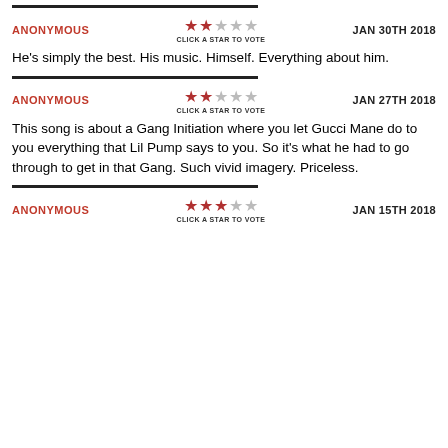there's some real shit about life in music and inspirational as well. Unlike the same 2 fucking words like this bullshit artist lil pump
ANONYMOUS | JAN 30TH 2018 | 2 stars | He's simply the best. His music. Himself. Everything about him.
ANONYMOUS | JAN 27TH 2018 | 2 stars | This song is about a Gang Initiation where you let Gucci Mane do to you everything that Lil Pump says to you. So it's what he had to go through to get in that Gang. Such vivid imagery. Priceless.
ANONYMOUS | JAN 15TH 2018 | 3 stars